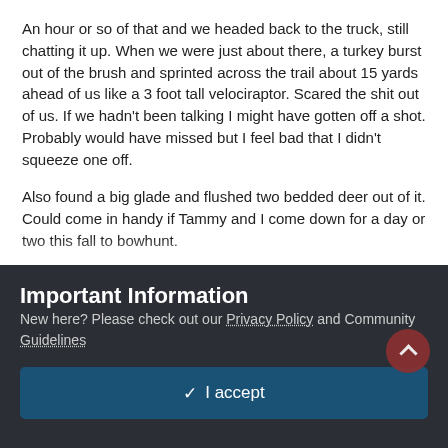An hour or so of that and we headed back to the truck, still chatting it up. When we were just about there, a turkey burst out of the brush and sprinted across the trail about 15 yards ahead of us like a 3 foot tall velociraptor. Scared the shit out of us. If we hadn't been talking I might have gotten off a shot. Probably would have missed but I feel bad that I didn't squeeze one off.
Also found a big glade and flushed two bedded deer out of it. Could come in handy if Tammy and I come down for a day or two this fall to bowhunt.
Went and had lunch and caught up some more. My buddy is a pastor at two churches so we talked about our similar crises of faith that we both had after feeling a call to ministry in our high school years and how he just kept getting dragged back in. It was a good talk and worth the trip.
Important Information
New here? Please check out our Privacy Policy and Community Guidelines
✓  I accept